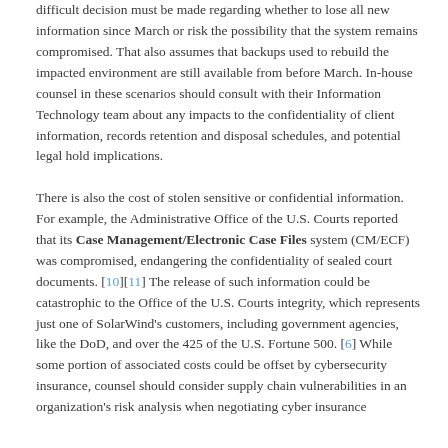difficult decision must be made regarding whether to lose all new information since March or risk the possibility that the system remains compromised. That also assumes that backups used to rebuild the impacted environment are still available from before March. In-house counsel in these scenarios should consult with their Information Technology team about any impacts to the confidentiality of client information, records retention and disposal schedules, and potential legal hold implications.
There is also the cost of stolen sensitive or confidential information. For example, the Administrative Office of the U.S. Courts reported that its Case Management/Electronic Case Files system (CM/ECF) was compromised, endangering the confidentiality of sealed court documents. [10][11] The release of such information could be catastrophic to the Office of the U.S. Courts integrity, which represents just one of SolarWind's customers, including government agencies, like the DoD, and over the 425 of the U.S. Fortune 500. [6] While some portion of associated costs could be offset by cybersecurity insurance, counsel should consider supply chain vulnerabilities in an organization's risk analysis when negotiating cyber insurance